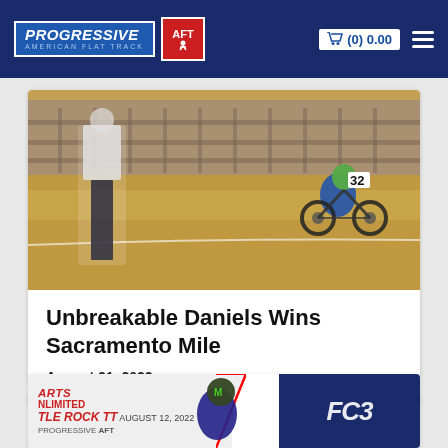Progressive American Flat Track
[Figure (photo): Flat track racing photo showing a race official standing trackside and a motorcycle racer wearing number 32 racing on a dirt track]
Unbreakable Daniels Wins Sacramento Mile
August 21, 2022
[Figure (photo): Parts Unlimited Battle Rock TT event banner with a motorcycle racer in Monster Energy gear and a logo on the right side]